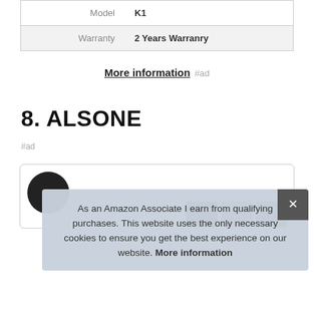| Model | K1 |
| Warranty | 2 Years Warranry |
More information #ad
8. ALSONE
#ad
As an Amazon Associate I earn from qualifying purchases. This website uses the only necessary cookies to ensure you get the best experience on our website. More information
[Figure (photo): Product card with product image and thumbnail images at the bottom]